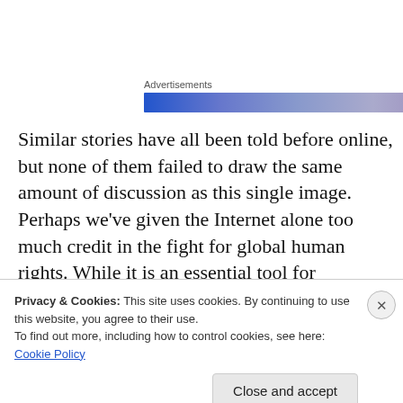[Figure (other): Advertisements banner with gradient blue bar]
Similar stories have all been told before online, but none of them failed to draw the same amount of discussion as this single image. Perhaps we’ve given the Internet alone too much credit in the fight for global human rights. While it is an essential tool for spreading information, the ubiquitous camera phone has become the best tool for
Privacy & Cookies: This site uses cookies. By continuing to use this website, you agree to their use.
To find out more, including how to control cookies, see here: Cookie Policy
Close and accept